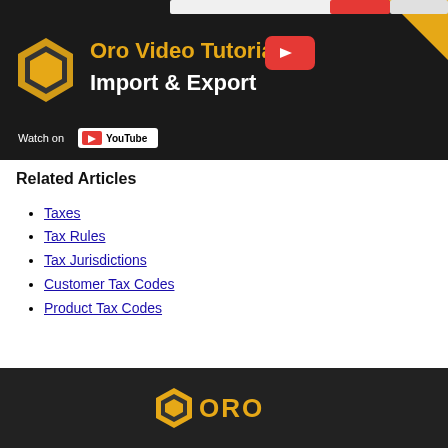[Figure (screenshot): Oro Video Tutorials - Import & Export YouTube thumbnail banner with dark background, Oro logo, title text in gold/white, and Watch on YouTube button]
Related Articles
Taxes
Tax Rules
Tax Jurisdictions
Customer Tax Codes
Product Tax Codes
ORO logo footer